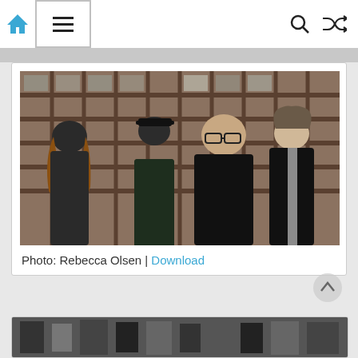Navigation bar with home icon, menu icon, search icon, and shuffle icon
[Figure (photo): Four young men standing in front of a rusty industrial window grid. Left to right: man with long brown hair in dark hoodie, man with black cap in dark plaid shirt, heavyset man with glasses in black button-up shirt, man with medium-length hair in white t-shirt and dark jacket.]
Photo: Rebecca Olsen | Download
[Figure (photo): Partial view of a second band photo at the bottom of the page, appears black and white or heavily filtered.]